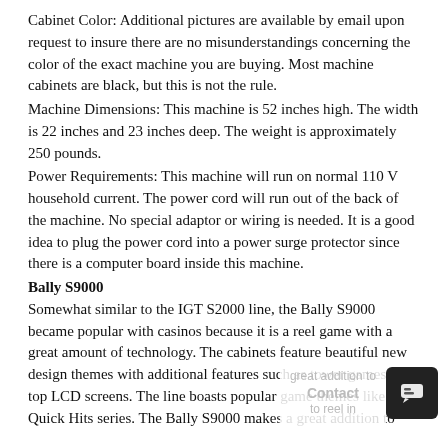Cabinet Color: Additional pictures are available by email upon request to insure there are no misunderstandings concerning the color of the exact machine you are buying. Most machine cabinets are black, but this is not the rule.
Machine Dimensions: This machine is 52 inches high. The width is 22 inches and 23 inches deep. The weight is approximately 250 pounds.
Power Requirements: This machine will run on normal 110 V household current. The power cord will run out of the back of the machine. No special adaptor or wiring is needed. It is a good idea to plug the power cord into a power surge protector since there is a computer board inside this machine.
Bally S9000
Somewhat similar to the IGT S2000 line, the Bally S9000 became popular with casinos because it is a reel game with a great amount of technology. The cabinets feature beautiful new design themes with additional features such as tower games and top LCD screens. The line boasts popular game themes like the Quick Hits series. The Bally S9000 makes a great addition to slot floor, providing an eye-catching machine to reel in customers.